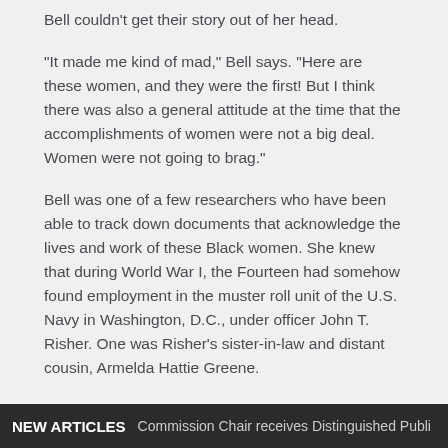Bell couldn't get their story out of her head.
“It made me kind of mad,” Bell says. “Here are these women, and they were the first! But I think there was also a general attitude at the time that the accomplishments of women were not a big deal. Women were not going to brag.”
Bell was one of a few researchers who have been able to track down documents that acknowledge the lives and work of these Black women. She knew that during World War I, the Fourteen had somehow found employment in the muster roll unit of the U.S. Navy in Washington, D.C., under officer John T. Risher. One was Risher’s sister-in-law and distant cousin, Armelda Hattie Greene.
The Golden Fourteen worked as yeomen and were tasked with handling administrative and clerical work.
NEW ARTICLES   Commission Chair receives Distinguished Publi